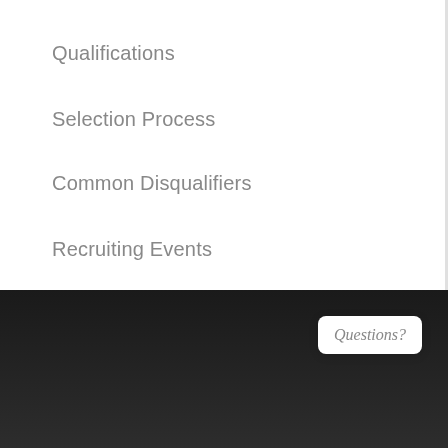Qualifications
Selection Process
Common Disqualifiers
Recruiting Events
[Figure (screenshot): Footer section with dark background containing two navigation cards: 'Police Contact' with a people/group icon and 'Recruiting Events' with a calendar-clock icon, each with an orange underline. A 'Questions?' popup bubble is visible in the top right corner with a close (x) button and a shield logo.]
Police Contact
Recruiting Events
Questions?